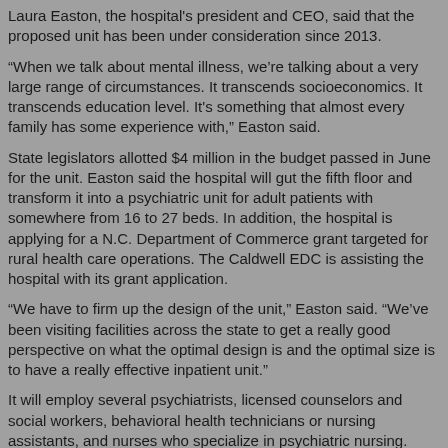Laura Easton, the hospital's president and CEO, said that the proposed unit has been under consideration since 2013.
“When we talk about mental illness, we’re talking about a very large range of circumstances. It transcends socioeconomics. It transcends education level. It's something that almost every family has some experience with,” Easton said.
State legislators allotted $4 million in the budget passed in June for the unit. Easton said the hospital will gut the fifth floor and transform it into a psychiatric unit for adult patients with somewhere from 16 to 27 beds. In addition, the hospital is applying for a N.C. Department of Commerce grant targeted for rural health care operations. The Caldwell EDC is assisting the hospital with its grant application.
“We have to firm up the design of the unit,” Easton said. “We’ve been visiting facilities across the state to get a really good perspective on what the optimal design is and the optimal size is to have a really effective inpatient unit.”
It will employ several psychiatrists, licensed counselors and social workers, behavioral health technicians or nursing assistants, and nurses who specialize in psychiatric nursing.
Patients seeking mental health care in Caldwell County currently have few options, so many end up in the emergency room — an average of four or five a day, Easton said.
“Their stays can range from 24 hours in our emergency room to six weeks. They range in age from 10 years old to 90. They range in diagnoses from depression and suicidal ideation to severe schizophrenia and homicidal tendencies,” she said.
According to data from the state Department of Health and Human Services, the